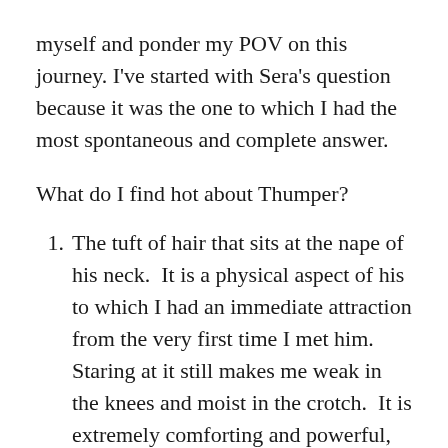myself and ponder my POV on this journey. I've started with Sera's question because it was the one to which I had the most spontaneous and complete answer.
What do I find hot about Thumper?
The tuft of hair that sits at the nape of his neck.  It is a physical aspect of his to which I had an immediate attraction from the very first time I met him.  Staring at it still makes me weak in the knees and moist in the crotch.  It is extremely comforting and powerful, in a territorial sort of fashion, for